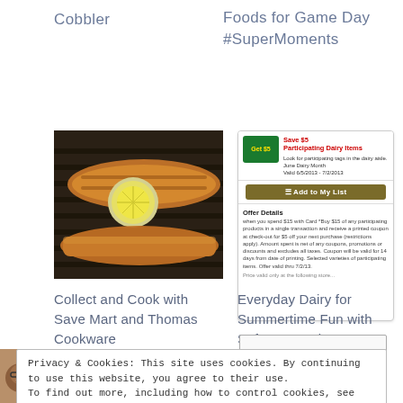Cobbler
Foods for Game Day #SuperMoments
[Figure (photo): Grilled fish fillets with lemon slices on a grill]
[Figure (screenshot): Coupon card: Save $5 on Participating Dairy Items. Look for participating tags in the dairy aisle. June Dairy Month. Valid 6/5/2013 - 7/2/2013. Add to My List button. Offer Details text.]
Collect and Cook with Save Mart and Thomas Cookware
Everyday Dairy for Summertime Fun with Safeway Savings!
Privacy & Cookies: This site uses cookies. By continuing to use this website, you agree to their use.
To find out more, including how to control cookies, see here: Privacy Policy
[Figure (photo): Family group photo with smiling faces]
Black Families Matter